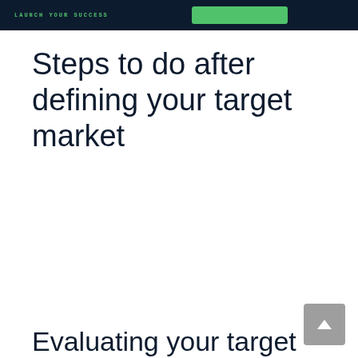LAUNCH YOUR SUCCESS
Steps to do after defining your target market
Evaluating your target